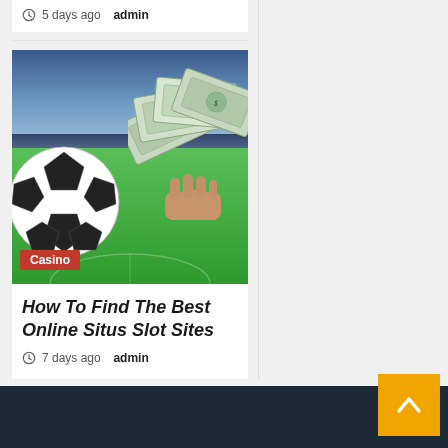5 days ago  admin
[Figure (photo): Soccer ball on green field with a hand holding fan of dollar bills, stadium background with blue sky]
Casino
How To Find The Best Online Situs Slot Sites
7 days ago  admin